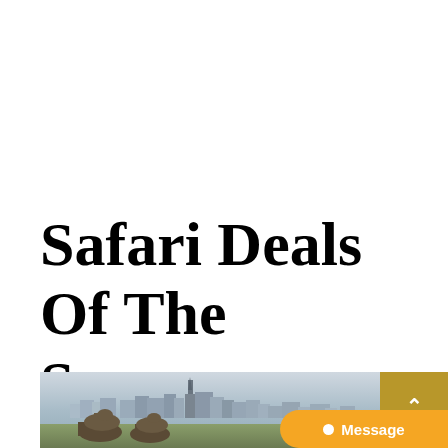Safari Deals Of The Season
[Figure (photo): Cityscape/skyline photo showing urban buildings and a tall tower, with animals (camels or similar) in the foreground, hazy sky]
Message